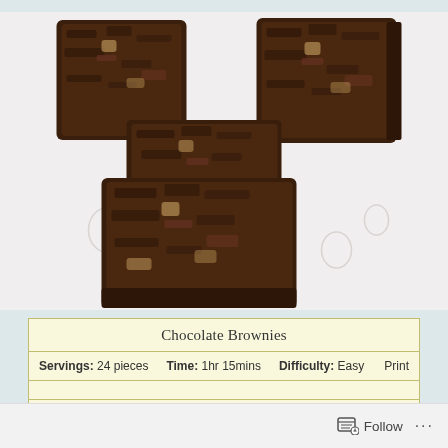[Figure (photo): Top-down photograph of chocolate brownies arranged on a white decorative plate. The brownies are dark chocolate colored, fudgy and textured, with approximately 5 brownie pieces visible.]
Chocolate Brownies
Servings: 24 pieces   Time: 1hr 15mins   Difficulty: Easy   Print
These make very rich, gooey brownies.  Serve as dessert with